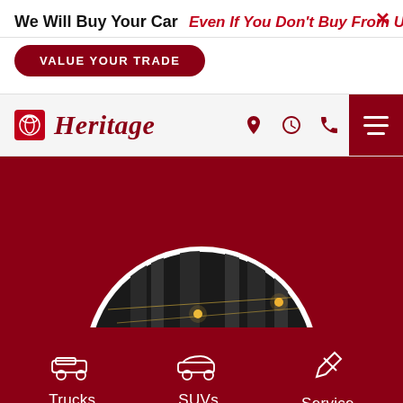We Will Buy Your Car
Even If You Don't Buy From Us
VALUE YOUR TRADE
[Figure (logo): Heritage Toyota dealership logo with Toyota icon and Heritage script text in red]
[Figure (photo): Hero image with dark circular photo showing string lights and building structures at night, set against a dark red background]
Trucks
SUVs
Service